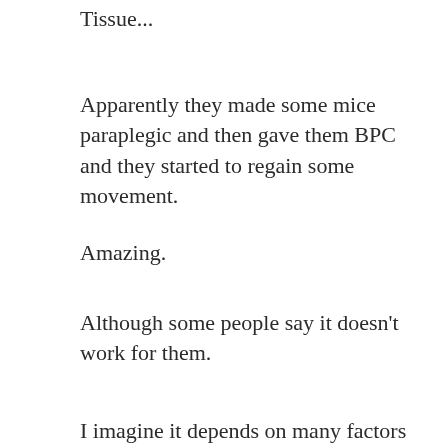Tissue...
Apparently they made some mice paraplegic and then gave them BPC and they started to regain some movement.
Amazing.
Although some people say it doesn't work for them.
I imagine it depends on many factors like: the quality of BPC, where you inject, injury type, etc.
But from what I've learned it didn't work because they didn't take enough or they...